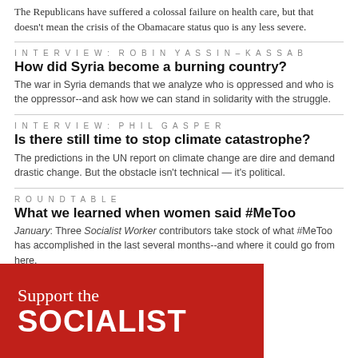The Republicans have suffered a colossal failure on health care, but that doesn't mean the crisis of the Obamacare status quo is any less severe.
INTERVIEW: ROBIN YASSIN-KASSAB
How did Syria become a burning country?
The war in Syria demands that we analyze who is oppressed and who is the oppressor--and ask how we can stand in solidarity with the struggle.
INTERVIEW: PHIL GASPER
Is there still time to stop climate catastrophe?
The predictions in the UN report on climate change are dire and demand drastic change. But the obstacle isn't technical — it's political.
ROUNDTABLE
What we learned when women said #MeToo
January: Three Socialist Worker contributors take stock of what #MeToo has accomplished in the last several months--and where it could go from here.
[Figure (illustration): Red banner advertisement reading 'Support the SOCIALIST' on a dark red background]